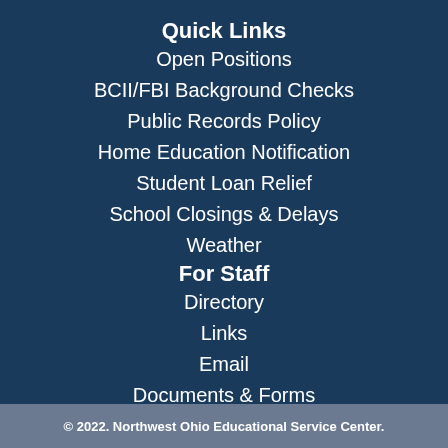Quick Links
Open Positions
BCII/FBI Background Checks
Public Records Policy
Home Education Notification
Student Loan Relief
School Closings & Delays
Weather
For Staff
Directory
Links
Email
Documents & Forms
Admin Sign In
© 2022. Northwest Ohio Educational Service Center.